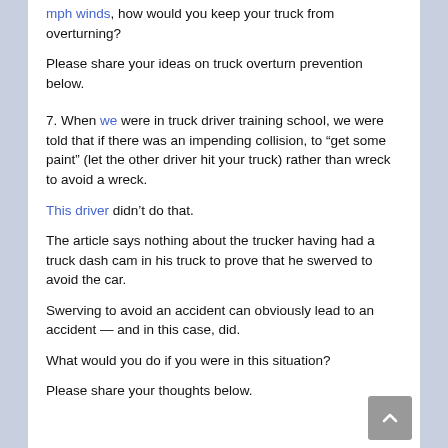mph winds, how would you keep your truck from overturning?
Please share your ideas on truck overturn prevention below.
7. When we were in truck driver training school, we were told that if there was an impending collision, to “get some paint” (let the other driver hit your truck) rather than wreck to avoid a wreck.
This driver didn't do that.
The article says nothing about the trucker having had a truck dash cam in his truck to prove that he swerved to avoid the car.
Swerving to avoid an accident can obviously lead to an accident — and in this case, did.
What would you do if you were in this situation?
Please share your thoughts below.